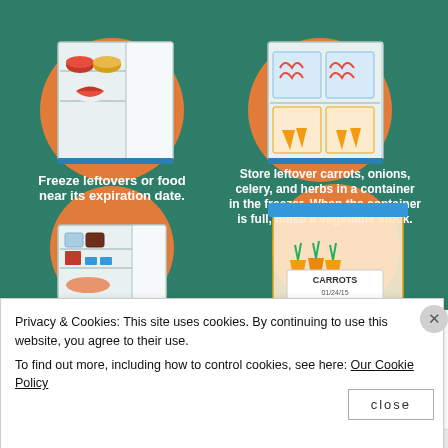[Figure (infographic): Infographic on green background with two food storage tips: top-left shows an open freezer with leftovers and text 'Freeze leftovers or food near its expiration date.'; top-right shows a freezer with containers of vegetables and text 'Store leftover carrots, onions, celery, and herbs in a container in the freezer. When the container is full, make a vegetable stock.'; bottom-left shows an open refrigerator with food items; bottom-right shows a labeled clear container with carrots marked 'CARROTS 01/24/15'.]
Privacy & Cookies: This site uses cookies. By continuing to use this website, you agree to their use.
To find out more, including how to control cookies, see here: Our Cookie Policy